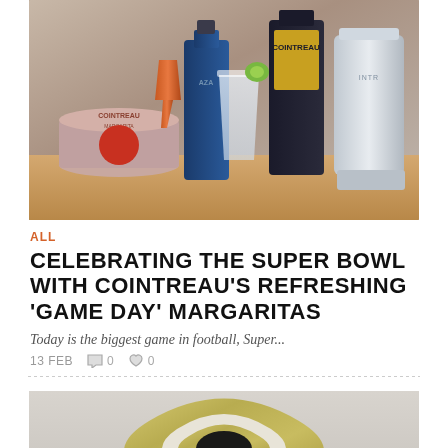[Figure (photo): Photo of Cointreau margarita cocktail setup with bottles, a salted glass with lime garnish, a copper jigger, and a metal cocktail shaker on a wooden surface]
ALL
CELEBRATING THE SUPER BOWL WITH COINTREAU'S REFRESHING 'GAME DAY' MARGARITAS
Today is the biggest game in football, Super...
13 FEB   0   0
[Figure (photo): Close-up photo of a gold and white striped bracelet or ring on a light gray surface]